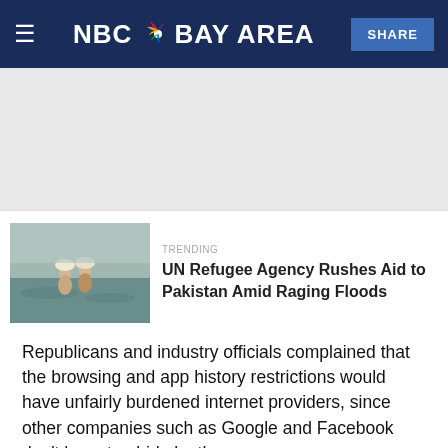NBC Bay Area
[Figure (photo): Thumbnail photo of people wading through floodwaters in Pakistan carrying items on their heads]
UN Refugee Agency Rushes Aid to Pakistan Amid Raging Floods
Republicans and industry officials complained that the browsing and app history restrictions would have unfairly burdened internet providers, since other companies such as Google and Facebook don't have to abide by them.
That's important because the biggest broadband companies want to build ad businesses to rival those tech giants. This rule would have made that more difficult.